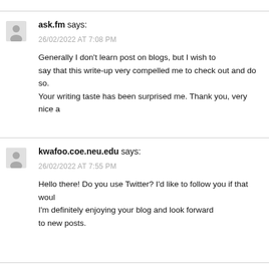ask.fm says:
26/02/2022 AT 7:08 PM
Generally I don't learn post on blogs, but I wish to say that this write-up very compelled me to check out and do so. Your writing taste has been surprised me. Thank you, very nice a
kwafoo.coe.neu.edu says:
26/02/2022 AT 7:55 PM
Hello there! Do you use Twitter? I'd like to follow you if that woul I'm definitely enjoying your blog and look forward to new posts.